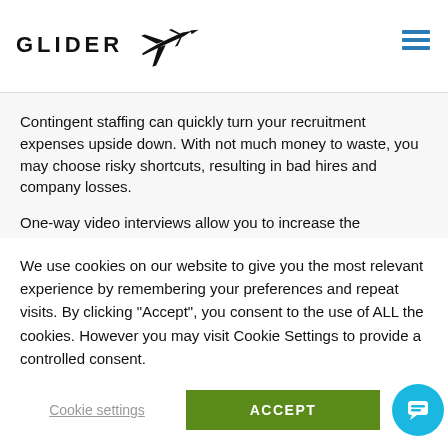[Figure (logo): Glider logo with stylized glider plane silhouette and text 'GLIDER' in bold capitals]
Contingent staffing can quickly turn your recruitment expenses upside down. With not much money to waste, you may choose risky shortcuts, resulting in bad hires and company losses.

One-way video interviews allow you to increase the
We use cookies on our website to give you the most relevant experience by remembering your preferences and repeat visits. By clicking "Accept", you consent to the use of ALL the cookies. However you may visit Cookie Settings to provide a controlled consent.
Cookie settings
ACCEPT